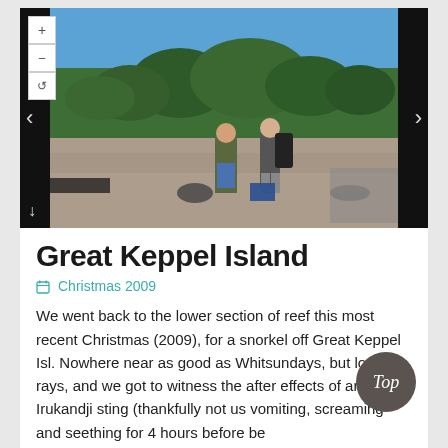[Figure (photo): Two people standing on a rocky/pebbly beach with trees and blue sky in the background. Navigation controls (zoom in +, zoom out -, refresh/rotate arrows) visible on left side. Left and right navigation arrows visible on the sides. A download arrow at bottom left.]
Great Keppel Island
Christmas 2009
We went back to the lower section of reef this most recent Christmas (2009), for a snorkel off Great Keppel Isl. Nowhere near as good as Whitsundays, but lots of rays, and we got to witness the after effects of an Irukandji sting (thankfully not us vomiting, screaming and seething for 4 hours before being...